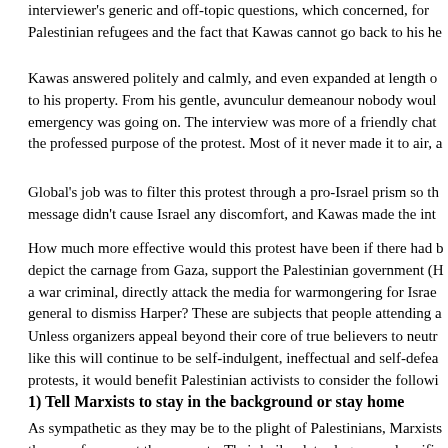interviewer's generic and off-topic questions, which concerned, for Palestinian refugees and the fact that Kawas cannot go back to his ho
Kawas answered politely and calmly, and even expanded at length o to his property. From his gentle, avunculur demeanour nobody woul emergency was going on. The interview was more of a friendly chat the professed purpose of the protest. Most of it never made it to air, a
Global's job was to filter this protest through a pro-Israel prism so th message didn't cause Israel any discomfort, and Kawas made the int
How much more effective would this protest have been if there had b depict the carnage from Gaza, support the Palestinian government (H a war criminal, directly attack the media for warmongering for Israe general to dismiss Harper? These are subjects that people attending a
Unless organizers appeal beyond their core of true believers to neutr like this will continue to be self-indulgent, ineffectual and self-defea protests, it would benefit Palestinian activists to consider the followi
1) Tell Marxists to stay in the background or stay home
As sympathetic as they may be to the plight of Palestinians, Marxists them no favours at these events. Their boilerplate slogans and ossifie Palestinians don't need if they hope to gain support.
2) L...